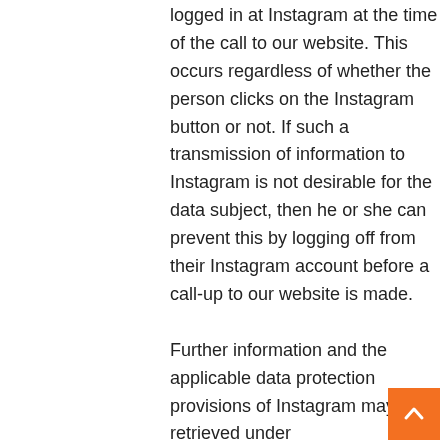logged in at Instagram at the time of the call to our website. This occurs regardless of whether the person clicks on the Instagram button or not. If such a transmission of information to Instagram is not desirable for the data subject, then he or she can prevent this by logging off from their Instagram account before a call-up to our website is made.
Further information and the applicable data protection provisions of Instagram may be retrieved under https://help.instagram.com/1558337079